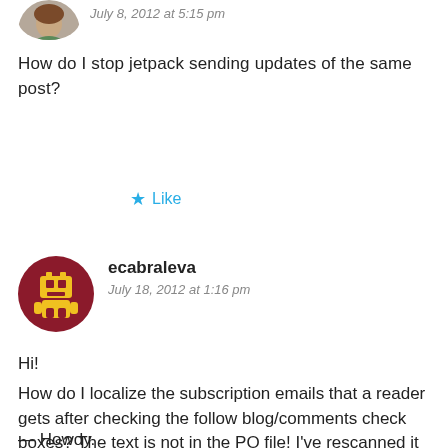[Figure (photo): Partial avatar/profile photo of a person, cropped at top, showing face]
July 8, 2012 at 5:15 pm
How do I stop jetpack sending updates of the same post?
★ Like
[Figure (logo): Circular avatar with dark red background and yellow robot/person icon for user ecabraleva]
ecabraleva
July 18, 2012 at 1:16 pm
Hi!
How do I localize the subscription emails that a reader gets after checking the follow blog/comments check boxes? The text is not in the PO file! I've rescanned it already. The Comments email reads:
— Howdy.